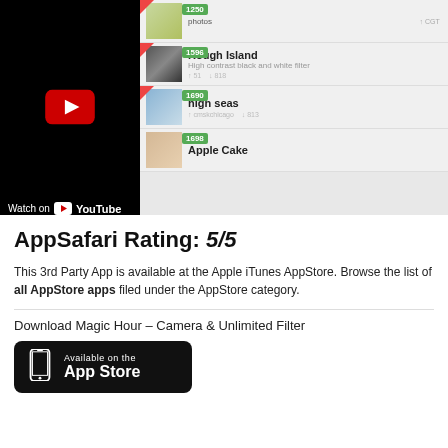[Figure (screenshot): YouTube embedded video player overlay on an iPhone app screenshot showing a filter list for 'Magic Hour' camera app. Filters shown include: a flowers filter (1250), 'Rough Island' (1596) - High contrast black and white filter, 'high seas' (1690), and 'Apple Cake' (1698). Each has a Down(load) button. A YouTube play button overlay and 'Watch on YouTube' bar are visible.]
AppSafari Rating: 5/5
This 3rd Party App is available at the Apple iTunes AppStore. Browse the list of all AppStore apps filed under the AppStore category.
Download Magic Hour – Camera & Unlimited Filter
[Figure (logo): Available on the App Store button — black rounded rectangle with iPhone icon and 'Available on the App Store' text in white.]